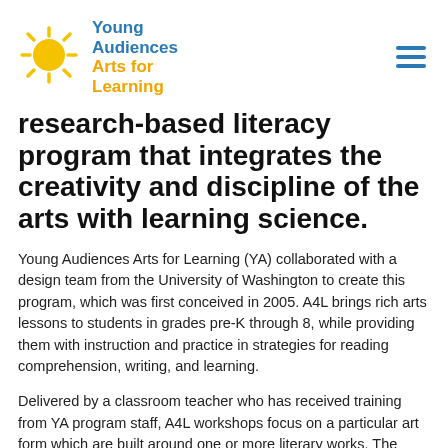[Figure (logo): Young Audiences Arts for Learning logo with yellow sun graphic and blue/yellow text]
research-based literacy program that integrates the creativity and discipline of the arts with learning science.
Young Audiences Arts for Learning (YA) collaborated with a design team from the University of Washington to create this program, which was first conceived in 2005. A4L brings rich arts lessons to students in grades pre-K through 8, while providing them with instruction and practice in strategies for reading comprehension, writing, and learning.
Delivered by a classroom teacher who has received training from YA program staff, A4L workshops focus on a particular art form which are built around one or more literary works. The workshops are augmented by